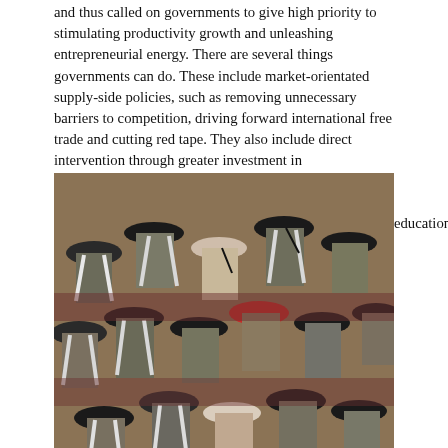and thus called on governments to give high priority to stimulating productivity growth and unleashing entrepreneurial energy. There are several things governments can do. These include market-orientated supply-side policies, such as removing unnecessary barriers to competition, driving forward international free trade and cutting red tape. They also include direct intervention through greater investment in
[Figure (photo): A large group of university graduates wearing mortarboard caps and academic gowns, viewed from behind, seated in an auditorium.]
education and training, infrastructure and public-sector R&D. They also include giving subsidies and/or tax relief for private-sector R&D.
Banks too have a role in chanelling finance away from low-productivity firms and towards 'young and vibrant companies'.
It is important to recognise, she concluded, that innovation and structural change can lead to some people losing out, with job losses, low wages and social deprivation. Support should be given to such people through better